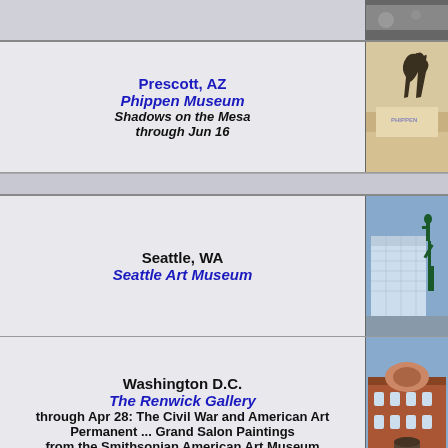Prescott, AZ | Phippen Museum | Shadows on the Mesa through Jun 16
[Figure (photo): Bronze sculpture of a bucking horse and rider outside the Phippen Museum, Prescott AZ]
Seattle, WA | Seattle Art Museum
[Figure (photo): Seattle Art Museum exterior with Hammering Man sculpture]
Washington D.C. | The Renwick Gallery | through Apr 28: The Civil War and American Art Permanent ... Grand Salon Paintings from the Smithsonian American Art Museum
[Figure (photo): The Renwick Gallery building exterior, Washington D.C.]
Cedar Rapids, IA | The Cedar Rapids Museum of Art | Grant Wood: In Focus